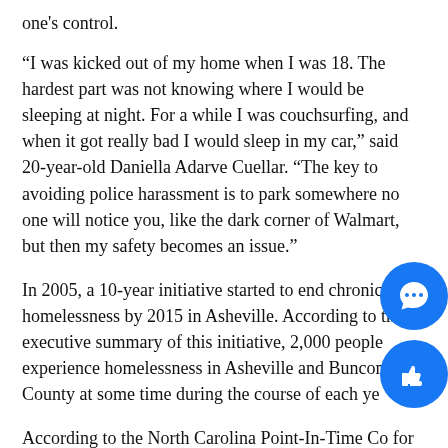one's control.
“I was kicked out of my home when I was 18. The hardest part was not knowing where I would be sleeping at night. For a while I was couchsurfing, and when it got really bad I would sleep in my car,” said 20-year-old Daniella Adarve Cuellar. “The key to avoiding police harassment is to park somewhere no one will notice you, like the dark corner of Walmart, but then my safety becomes an issue.”
In 2005, a 10-year initiative started to end chronic homelessness by 2015 in Asheville. According to the executive summary of this initiative, 2,000 people experience homelessness in Asheville and Buncombe County at some time during the course of each year.
According to the North Carolina Point-In-Time Count for Asheville/Buncombe County in 2008, the total